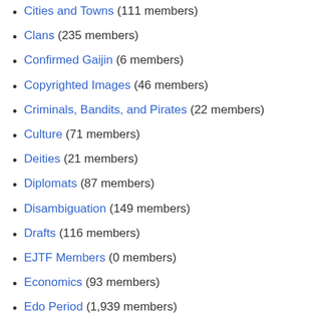Cities and Towns (111 members)
Clans (235 members)
Confirmed Gaijin (6 members)
Copyrighted Images (46 members)
Criminals, Bandits, and Pirates (22 members)
Culture (71 members)
Deities (21 members)
Diplomats (87 members)
Disambiguation (149 members)
Drafts (116 members)
EJTF Members (0 members)
Economics (93 members)
Edo Period (1,939 members)